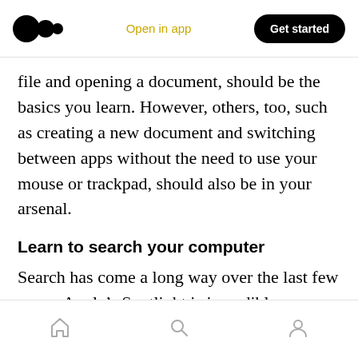Open in app | Get started
file and opening a document, should be the basics you learn. However, others, too, such as creating a new document and switching between apps without the need to use your mouse or trackpad, should also be in your arsenal.
Learn to search your computer
Search has come a long way over the last few years. Apple’s Spotlight is incredible, bringing your results in fractions of a second. Windows also has a robust system-wide search function. Learn to use them.
Home | Search | Profile